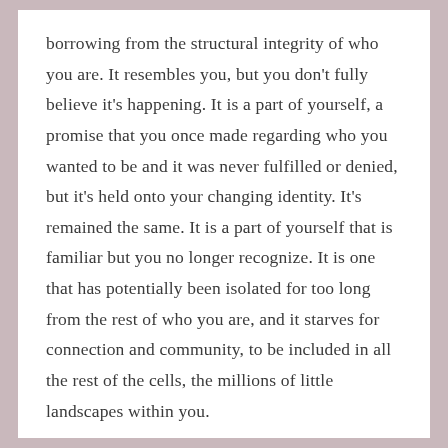borrowing from the structural integrity of who you are. It resembles you, but you don't fully believe it's happening. It is a part of yourself, a promise that you once made regarding who you wanted to be and it was never fulfilled or denied, but it's held onto your changing identity. It's remained the same. It is a part of yourself that is familiar but you no longer recognize. It is one that has potentially been isolated for too long from the rest of who you are, and it starves for connection and community, to be included in all the rest of the cells, the millions of little landscapes within you.